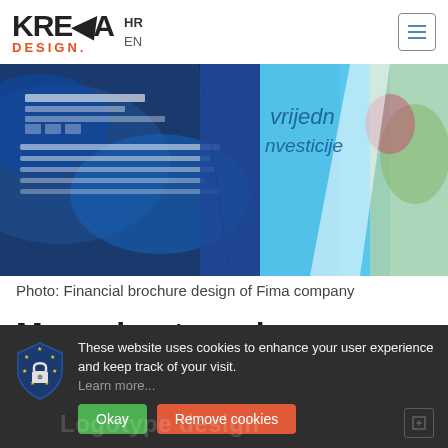KREDA DESIGN. HR EN
[Figure (photo): Photo of financial brochures — one open blue brochure with text and another showing 'vrijedn investicije' with blue and nature imagery on the cover]
Photo: Financial brochure design of Fima company
More about services
These website uses cookies to enhance your user experience and keep track of your visit. Learn more...
Okay   Remove cookies
Logotype design